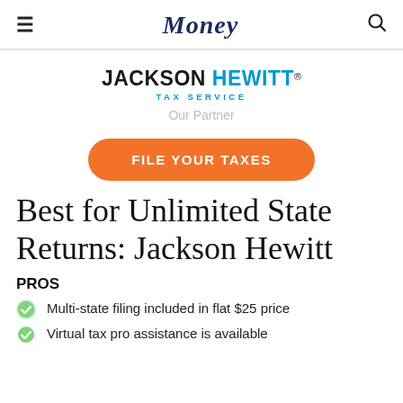Money
[Figure (logo): Jackson Hewitt Tax Service logo]
Our Partner
FILE YOUR TAXES
Best for Unlimited State Returns: Jackson Hewitt
PROS
Multi-state filing included in flat $25 price
Virtual tax pro assistance is available